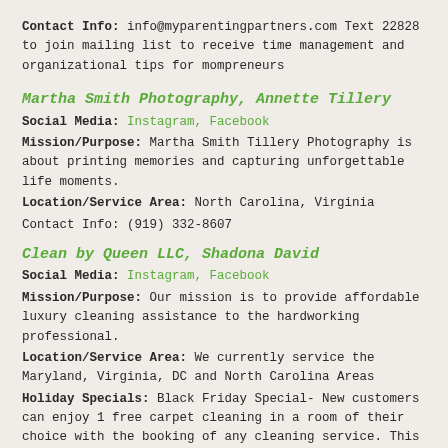Contact Info: info@myparentingpartners.com Text 22828 to join mailing list to receive time management and organizational tips for mompreneurs
Martha Smith Photography, Annette Tillery
Social Media: Instagram, Facebook
Mission/Purpose: Martha Smith Tillery Photography is about printing memories and capturing unforgettable life moments.
Location/Service Area: North Carolina, Virginia
Contact Info: (919) 332-8607
Clean by Queen LLC, Shadona David
Social Media: Instagram, Facebook
Mission/Purpose: Our mission is to provide affordable luxury cleaning assistance to the hardworking professional.
Location/Service Area: We currently service the Maryland, Virginia, DC and North Carolina Areas
Holiday Specials: Black Friday Special- New customers can enjoy 1 free carpet cleaning in a room of their choice with the booking of any cleaning service. This special is offered for the entire month of December.